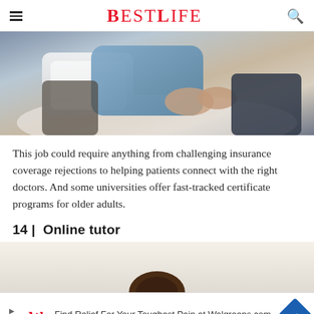BESTLIFE
[Figure (photo): Close-up photo of a person in a blue shirt sitting on a bed, hands clasped, with white pillows and bedding visible]
This job could require anything from challenging insurance coverage rejections to helping patients connect with the right doctors. And some universities offer fast-tracked certificate programs for older adults.
14 | Online tutor
[Figure (photo): Partial photo of an online tutor scene, light background with a person partially visible]
[Figure (other): Advertisement banner: Find Relief For Your Toughest Pain at Walgreens.com, with Walgreens logo and blue diamond arrow icon]